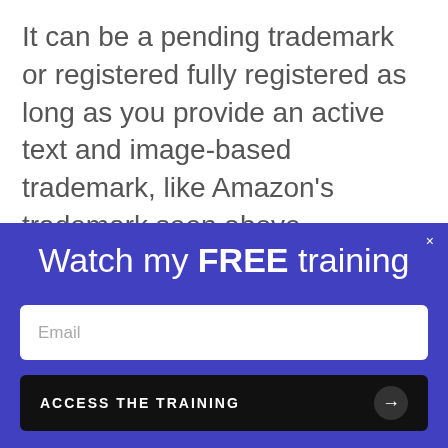It can be a pending trademark or registered fully registered as long as you provide an active text and image-based trademark, like Amazon's trademark seen above.
We use cookies on our website to give you the most relevant experience by remembering your preferences and
ntry where
Watch my FREE training
Email
ACCESS THE TRAINING →